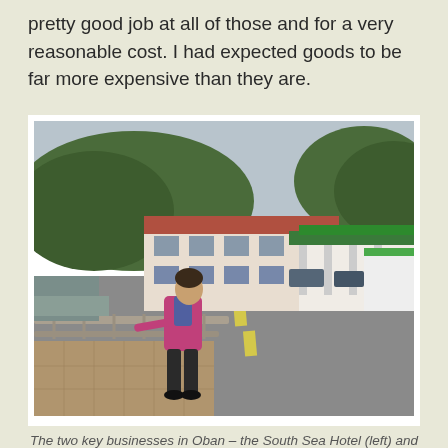pretty good job at all of those and for a very reasonable cost. I had expected goods to be far more expensive than they are.
[Figure (photo): A woman in a pink and blue jacket leans against a railing near the waterfront in Oban. In the background are two key businesses: the South Sea Hotel (a white building with a red roof on the left) and what appears to be a general store with a green roof on the right. The street is empty and the hillside behind has trees.]
The two key businesses in Oban – the South Sea Hotel (left) and